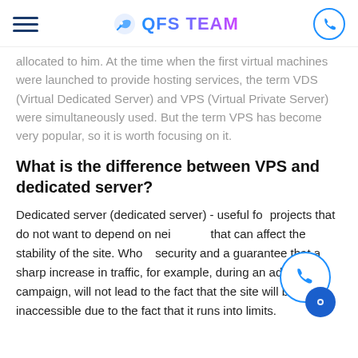QFS TEAM
allocated to him. At the time when the first virtual machines were launched to provide hosting services, the term VDS (Virtual Dedicated Server) and VPS (Virtual Private Server) were simultaneously used. But the term VPS has become very popular, so it is worth focusing on it.
What is the difference between VPS and dedicated server?
Dedicated server (dedicated server) - useful for projects that do not want to depend on neighbors that can affect the stability of the site. Who needs security and a guarantee that a sharp increase in traffic, for example, during an advertising campaign, will not lead to the fact that the site will be inaccessible due to the fact that it runs into limits.